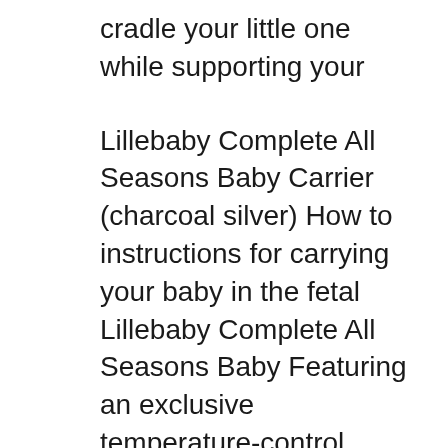cradle your little one while supporting your
Lillebaby Complete All Seasons Baby Carrier (charcoal silver) How to instructions for carrying your baby in the fetal Lillebaby Complete All Seasons Baby Featuring an exclusive temperature-control panel that easily zips-up for warmth and zips-down to expose cool, breathable, 3D
Lillebaby Complete All Seasons 6-In-1 Baby Carrier. Please read all instructions and watch instructional videos before use. 360B° Ergonomic Baby & Child Carrier by LILLEbaby вЂ" The COMPLETE All Seasons (Stone). IG-